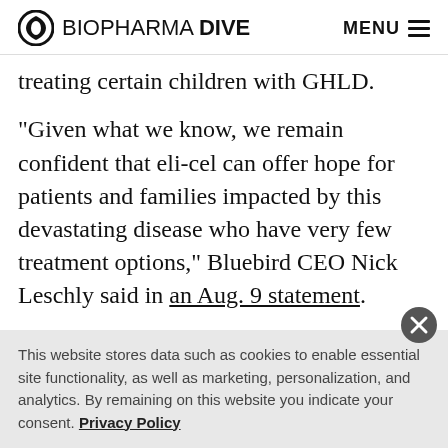BIOPHARMA DIVE | MENU
treating certain children with GHLD.
“Given what we know, we remain confident that eli-cel can offer hope for patients and families impacted by this devastating disease who have very few treatment options,” Bluebird CEO Nick Leschly said in an Aug. 9 statement.
Meanwhile, Bluebird also disclosed alongside its second quarter earnings Monday plans to wind down operations
This website stores data such as cookies to enable essential site functionality, as well as marketing, personalization, and analytics. By remaining on this website you indicate your consent. Privacy Policy